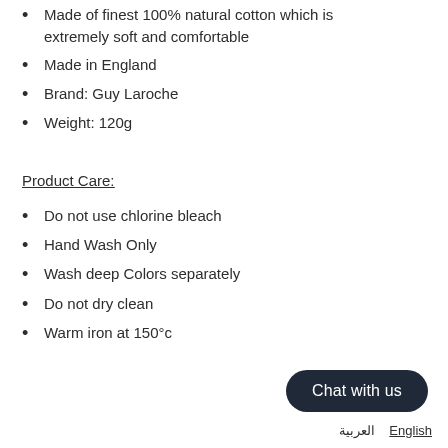Made of finest 100% natural cotton which is extremely soft and comfortable
Made in England
Brand: Guy Laroche
Weight: 120g
Product Care:
Do not use chlorine bleach
Hand Wash Only
Wash deep Colors separately
Do not dry clean
Warm iron at 150°c
Chat with us
English  العربية